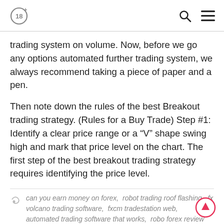18+ [search icon] [menu icon]
trading system on volume. Now, before we go any options automated further trading system, we always recommend taking a piece of paper and a pen.
Then note down the rules of the best Breakout trading strategy. (Rules for a Buy Trade) Step #1: Identify a clear price range or a “V” shape swing high and mark that price level on the chart. The first step of the best breakout trading strategy requires identifying the price level.
can you earn money on forex, robot trading roof flashing, fx volcano trading software, fxcm tradestation web, automated trading software that works, robo forex review